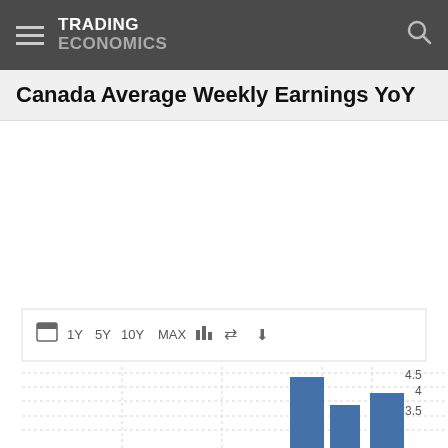TRADING ECONOMICS
Canada Average Weekly Earnings YoY
[Figure (bar-chart): Partial bar chart visible at bottom of page showing recent YoY values around 3.0-4.5 range]